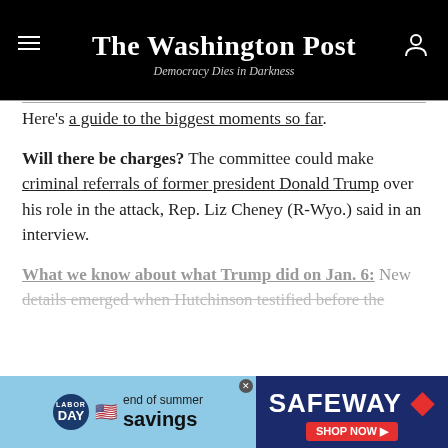The Washington Post — Democracy Dies in Darkness
Here's a guide to the biggest moments so far.
Will there be charges? The committee could make criminal referrals of former president Donald Trump over his role in the attack, Rep. Liz Cheney (R-Wyo.) said in an interview.
What we know about what Trump did on Jan. 6: New details emerged when Hutchinson testified before the
Show more
Gift Article